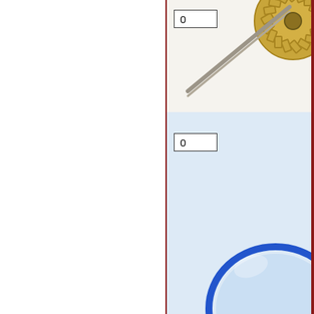[Figure (photo): Mechanical gear/worm gear with screw shaft, partial view in top-right corner]
0
0
[Figure (photo): Blue plastic hose clamp / ring clamp component]
0
0
[Figure (photo): Mechanical gear/cog wheel, partial view in bottom-right corner]